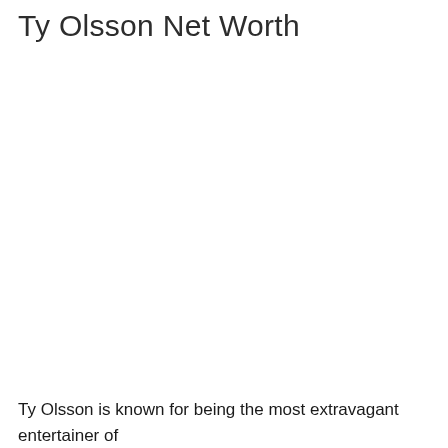Ty Olsson Net Worth
Ty Olsson is known for being the most extravagant entertainer of